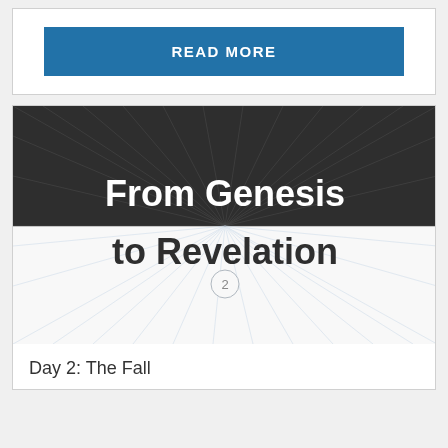[Figure (illustration): Blue READ MORE button on white card background]
[Figure (illustration): Book cover for 'From Genesis to Revelation' with dark radiant sunburst top half and light radiant sunburst bottom half, number 2 in center circle]
Day 2: The Fall